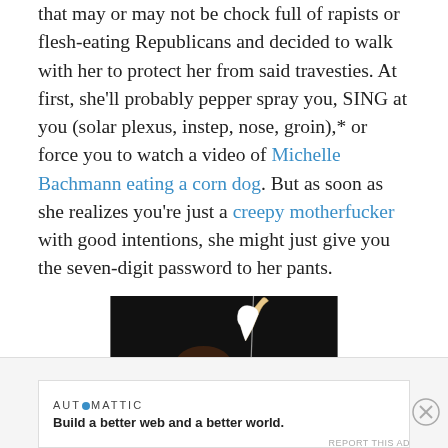that may or may not be chock full of rapists or flesh-eating Republicans and decided to walk with her to protect her from said travesties. At first, she'll probably pepper spray you, SING at you (solar plexus, instep, nose, groin),* or force you to watch a video of Michelle Bachmann eating a corn dog. But as soon as she realizes you're just a creepy motherfucker with good intentions, she might just give you the seven-digit password to her pants.
[Figure (photo): A beagle dog on a dark/black background, looking forward with tail raised and a leash visible]
Advertisements
AUTOMATTIC — Build a better web and a better world.